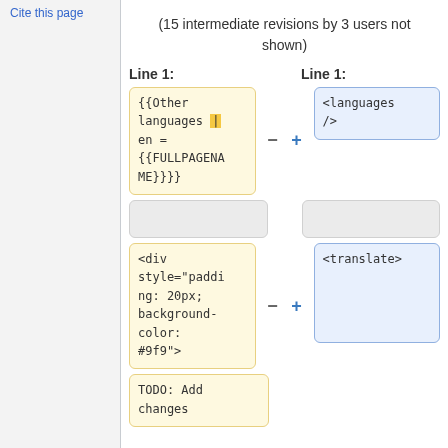Cite this page
(15 intermediate revisions by 3 users not shown)
Line 1:     Line 1:
{{Other languages | en = {{FULLPAGENAME}}}}
<languages />
<div style="padding: 20px; background-color: #9f9">
<translate>
TODO: Add changes